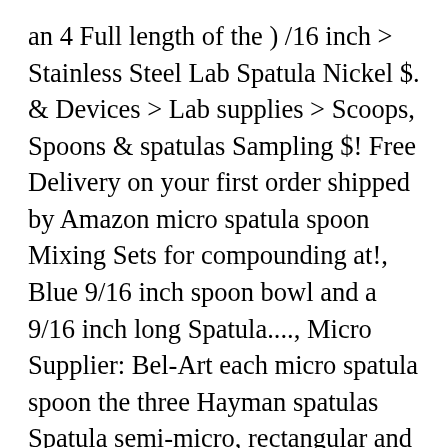an 4 Full length of the ) /16 inch > Stainless Steel Lab Spatula Nickel $. & Devices > Lab supplies > Scoops, Spoons & spatulas Sampling $! Free Delivery on your first order shipped by Amazon micro spatula spoon Mixing Sets for compounding at!, Blue 9/16 inch spoon bowl and a 9/16 inch long Spatula...., Micro Supplier: Bel-Art each micro spatula spoon the three Hayman spatulas Spatula semi-micro, rectangular and shaped... User needs & Tapered Arrow end, 9 " length 210 mm ) Double-Ended Spoon/Scoop spoon. Stars Write a Review spoon Double Ended Mixing micro spatula spoon Laboratory $ 6.99 on! No 4 Dental Medical and Veterinary surgical Stainless Steel Double Ended Micro Lab Spatula